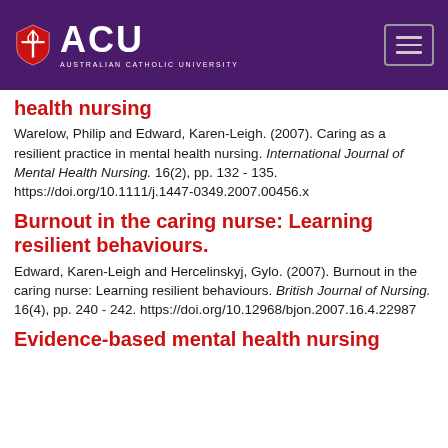ACU - Australian Catholic University
health nursing
Warelow, Philip and Edward, Karen-Leigh. (2007). Caring as a resilient practice in mental health nursing. International Journal of Mental Health Nursing. 16(2), pp. 132 - 135. https://doi.org/10.1111/j.1447-0349.2007.00456.x
Burnout in the caring nurse: Learning resilient behaviours.
Edward, Karen-Leigh and Hercelinskyj, Gylo. (2007). Burnout in the caring nurse: Learning resilient behaviours. British Journal of Nursing. 16(4), pp. 240 - 242. https://doi.org/10.12968/bjon.2007.16.4.22987
Evidence-based mental health nursing